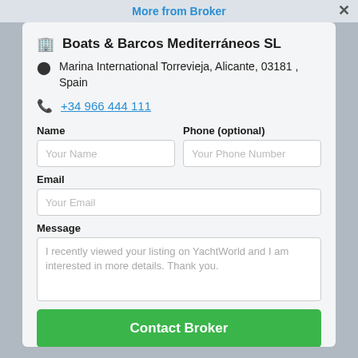More from Broker
Boats & Barcos Mediterráneos SL
Marina International Torrevieja, Alicante, 03181 , Spain
+34 966 444 111
Name
Your Name
Phone (optional)
Your Phone Number
Email
Your Email
Message
I recently viewed your listing on YachtWorld and I am interested in more details. Thank you.
Contact Broker